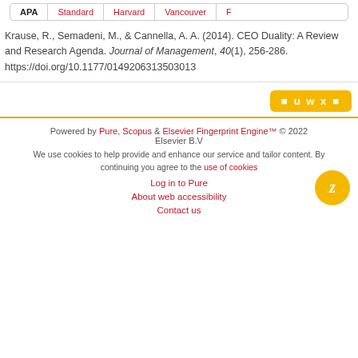APA | Standard | Harvard | Vancouver | ...
Krause, R., Semadeni, M., & Cannella, A. A. (2014). CEO Duality: A Review and Research Agenda. Journal of Management, 40(1), 256-286. https://doi.org/10.1177/0149206313503013
[Figure (other): Share button with icons: u w x]
Powered by Pure, Scopus & Elsevier Fingerprint Engine™ © 2022 Elsevier B.V
We use cookies to help provide and enhance our service and tailor content. By continuing you agree to the use of cookies
Log in to Pure
About web accessibility
Contact us